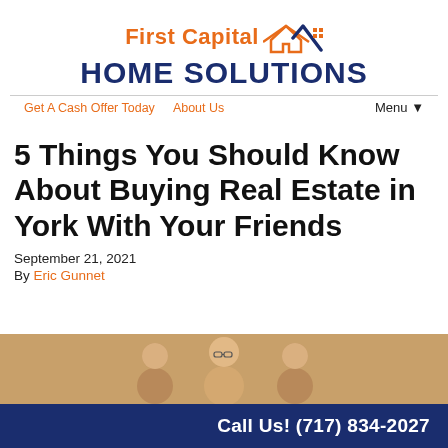[Figure (logo): First Capital Home Solutions logo with house icon and checkmark]
Get A Cash Offer Today   About Us   Menu▼
5 Things You Should Know About Buying Real Estate in York With Your Friends
September 21, 2021
By Eric Gunnet
[Figure (photo): Three people smiling together in a warm-toned photo]
Call Us! (717) 834-2027